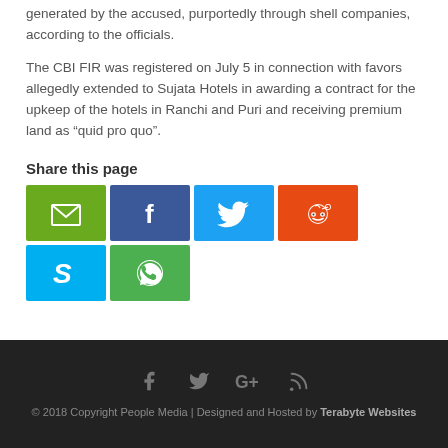generated by the accused, purportedly through shell companies, according to the officials.
The CBI FIR was registered on July 5 in connection with favors allegedly extended to Sujata Hotels in awarding a contract for the upkeep of the hotels in Ranchi and Puri and receiving premium land as “quid pro quo”.
Share this page
[Figure (infographic): Social share buttons: Email (green), Facebook (blue), Twitter (light blue), Reddit (orange), Skype (sky blue), WhatsApp (green)]
© 2018 Copyright People Media | Designed and Hosted by Terabyte Websites